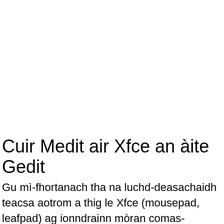Cuir Medit air Xfce an àite Gedit
Gu mì-fhortanach tha na luchd-deasachaidh teacsa aotrom a thig le Xfce (mousepad, leafpad) ag ionndrainn mòran comas-gnìomh, am measg ...